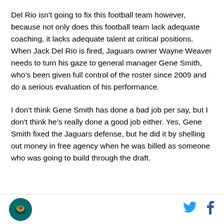Del Rio isn't going to fix this football team however, because not only does this football team lack adequate coaching, it lacks adequate talent at critical positions. When Jack Del Rio is fired, Jaguars owner Wayne Weaver needs to turn his gaze to general manager Gene Smith, who's been given full control of the roster since 2009 and do a serious evaluation of his performance.
I don't think Gene Smith has done a bad job per say, but I don't think he's really done a good job either. Yes, Gene Smith fixed the Jaguars defense, but he did it by shelling out money in free agency when he was billed as someone who was going to build through the draft.
SB Nation logo | Twitter | Facebook